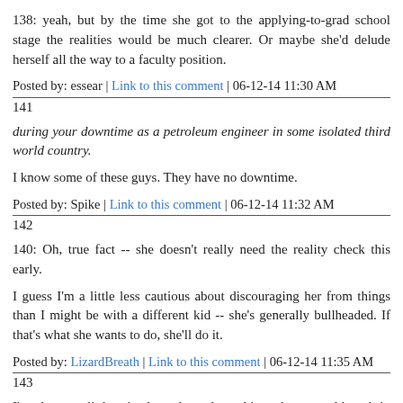138: yeah, but by the time she got to the applying-to-grad school stage the realities would be much clearer. Or maybe she'd delude herself all the way to a faculty position.
Posted by: essear | Link to this comment | 06-12-14 11:30 AM
141
during your downtime as a petroleum engineer in some isolated third world country.
I know some of these guys. They have no downtime.
Posted by: Spike | Link to this comment | 06-12-14 11:32 AM
142
140: Oh, true fact -- she doesn't really need the reality check this early.
I guess I'm a little less cautious about discouraging her from things than I might be with a different kid -- she's generally bullheaded. If that's what she wants to do, she'll do it.
Posted by: LizardBreath | Link to this comment | 06-12-14 11:35 AM
143
I'm always a little mixed up about these things, because although in my